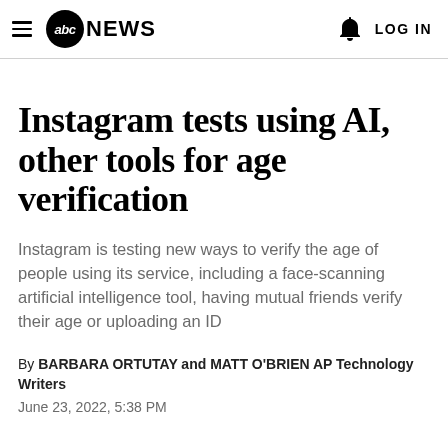abc NEWS  LOG IN
Instagram tests using AI, other tools for age verification
Instagram is testing new ways to verify the age of people using its service, including a face-scanning artificial intelligence tool, having mutual friends verify their age or uploading an ID
By BARBARA ORTUTAY and MATT O'BRIEN AP Technology Writers
June 23, 2022, 5:38 PM